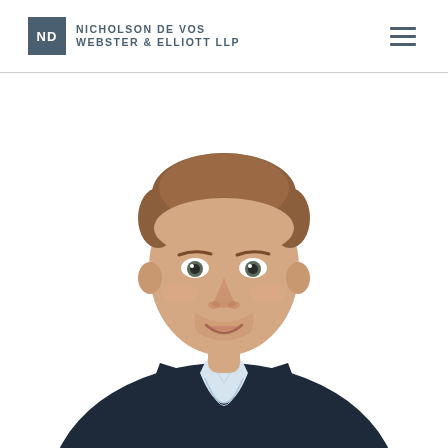ND NICHOLSON DE VOS WEBSTER & ELLIOTT LLP
[Figure (photo): Professional headshot of a man with reddish-brown hair, wearing a dark navy blazer and a light blue plaid/gingham shirt, photographed against a white background. He is smiling slightly and looking at the camera. The photo is a cropped bust/upper-body shot.]